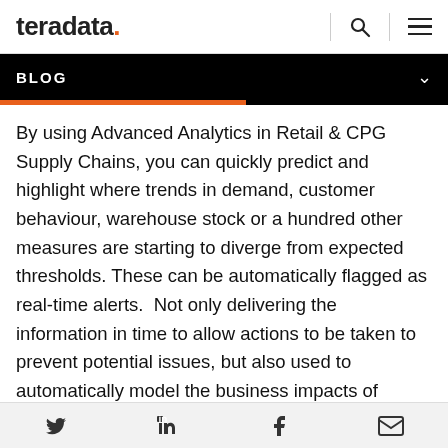teradata. [search] [menu]
BLOG
By using Advanced Analytics in Retail & CPG Supply Chains, you can quickly predict and highlight where trends in demand, customer behaviour, warehouse stock or a hundred other measures are starting to diverge from expected thresholds. These can be automatically flagged as real-time alerts.  Not only delivering the information in time to allow actions to be taken to prevent potential issues, but also used to automatically model the business impacts of
Twitter | LinkedIn | Facebook | Email